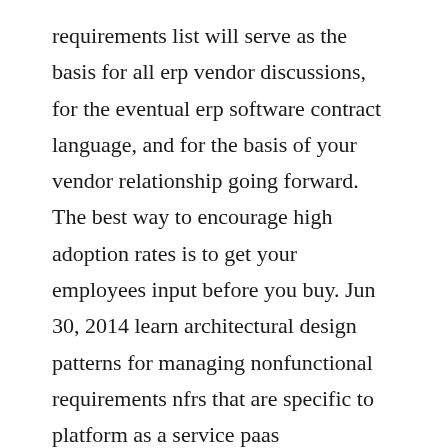requirements list will serve as the basis for all erp vendor discussions, for the eventual erp software contract language, and for the basis of your vendor relationship going forward. The best way to encourage high adoption rates is to get your employees input before you buy. Jun 30, 2014 learn architectural design patterns for managing nonfunctional requirements nfrs that are specific to platform as a service paas environments.
Use our requirements checklist in your erp software. Enterprise resource planning